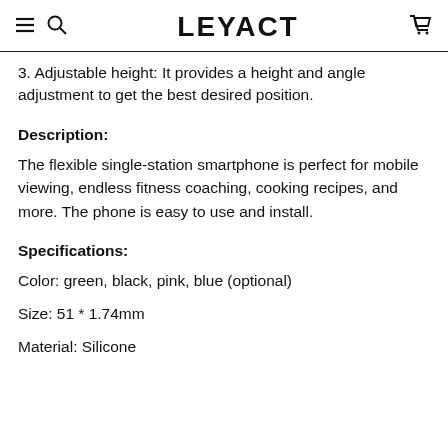LEYACT
3. Adjustable height: It provides a height and angle adjustment to get the best desired position.
Description:
The flexible single-station smartphone is perfect for mobile viewing, endless fitness coaching, cooking recipes, and more. The phone is easy to use and install.
Specifications:
Color: green, black, pink, blue (optional)
Size: 51 * 1.74mm
Material: Silicone